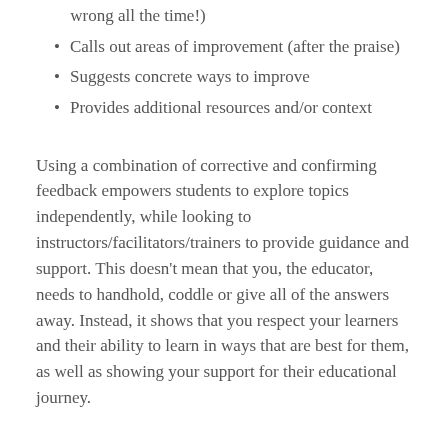wrong all the time!)
Calls out areas of improvement (after the praise)
Suggests concrete ways to improve
Provides additional resources and/or context
Using a combination of corrective and confirming feedback empowers students to explore topics independently, while looking to instructors/facilitators/trainers to provide guidance and support. This doesn’t mean that you, the educator, needs to handhold, coddle or give all of the answers away. Instead, it shows that you respect your learners and their ability to learn in ways that are best for them, as well as showing your support for their educational journey.